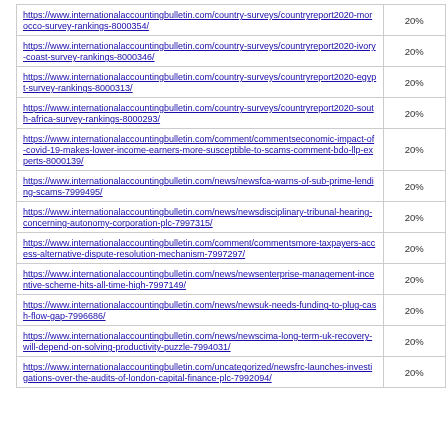| URL | % |
| --- | --- |
| https://www.internationalaccountingbulletin.com/country-surveys/countryreport2020-morocco-survey-rankings-8000354/ | 20% |
| https://www.internationalaccountingbulletin.com/country-surveys/countryreport2020-ivory-coast-survey-rankings-8000346/ | 20% |
| https://www.internationalaccountingbulletin.com/country-surveys/countryreport2020-egypt-survey-rankings-8000313/ | 20% |
| https://www.internationalaccountingbulletin.com/country-surveys/countryreport2020-south-africa-survey-rankings-8000293/ | 20% |
| https://www.internationalaccountingbulletin.com/comment/commentseconomic-impact-of-covid-19-makes-lower-income-earners-more-susceptible-to-scams-comment-bdo-llp-experts-8000139/ | 20% |
| https://www.internationalaccountingbulletin.com/news/newsfca-warns-of-sub-prime-lending-scams-7999495/ | 20% |
| https://www.internationalaccountingbulletin.com/news/newsdisciplinary-tribunal-hearing-concerning-autonomy-corporation-plc-7997315/ | 20% |
| https://www.internationalaccountingbulletin.com/comment/commentsmore-taxpayers-access-alternative-dispute-resolution-mechanism-7997297/ | 20% |
| https://www.internationalaccountingbulletin.com/news/newsenterprise-management-incentive-scheme-hits-all-time-high-7997149/ | 20% |
| https://www.internationalaccountingbulletin.com/news/newsuk-needs-funding-to-plug-cash-flow-gap-7996686/ | 20% |
| https://www.internationalaccountingbulletin.com/news/newscima-long-term-uk-recovery-will-depend-on-solving-productivity-puzzle-7994031/ | 20% |
| https://www.internationalaccountingbulletin.com/uncategorized/newsfrc-launches-investigations-over-the-audits-of-london-capital-finance-plc-7992094/ | 20% |